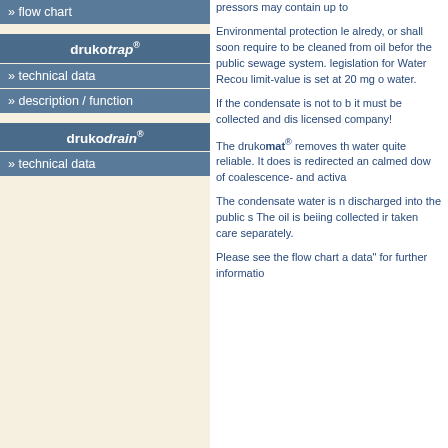» flow chart
drukotrap®
» technical data
» description / function
drukodrain®
» technical data
pressors may contain up to
Environmental protection le alredy, or shall soon require to be cleaned from oil befor the public sewage system. legislation for Water Recou limit-value is set at 20 mg o water.
If the condensate is not to b it must be collected and dis licensed company!
The drukomat® removes th water quite reliable. It does is redirected an calmed dow of coalescence- and activa
The condensate water is n discharged into the public s The oil is beiing collected ir taken care separately.
Please see the flow chart a data" for further informatio